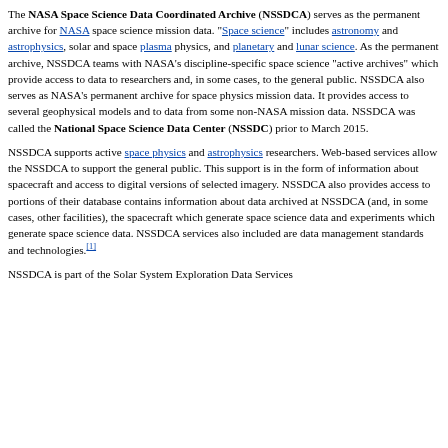The NASA Space Science Data Coordinated Archive (NSSDCA) serves as the permanent archive for NASA space science mission data. "Space science" includes astronomy and astrophysics, solar and space plasma physics, and planetary and lunar science. As the permanent archive, NSSDCA teams with NASA's discipline-specific space science "active archives" which provide access to data to researchers and, in some cases, to the general public. NSSDCA also serves as NASA's permanent archive for space physics mission data. It provides access to several geophysical models and to data from some non-NASA mission data. NSSDCA was called the National Space Science Data Center (NSSDC) prior to March 2015.
NSSDCA supports active space physics and astrophysics researchers. Web-based services allow the NSSDCA to support the general public. This support is in the form of information about spacecraft and access to digital versions of selected imagery. NSSDCA also provides access to portions of their database contains information about data archived at NSSDCA (and, in some cases, other facilities), the spacecraft which generate space science data and experiments which generate space science data. NSSDCA services also included are data management standards and technologies.[1]
NSSDCA is part of the Solar System Exploration Data Services